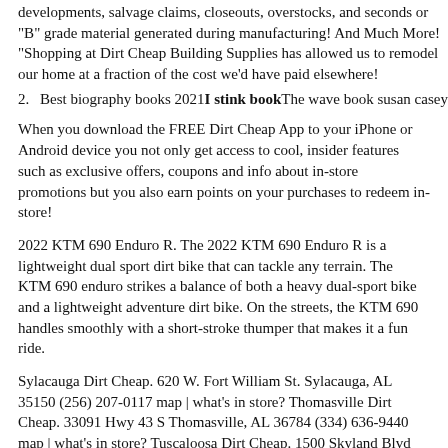developments, salvage claims, closeouts, overstocks, and seconds or "B" grade material generated during manufacturing! And Much More! "Shopping at Dirt Cheap Building Supplies has allowed us to remodel our home at a fraction of the cost we'd have paid elsewhere!
Best biography books 2021 I stink book The wave book susan casey
When you download the FREE Dirt Cheap App to your iPhone or Android device you not only get access to cool, insider features such as exclusive offers, coupons and info about in-store promotions but you also earn points on your purchases to redeem in-store!
2022 KTM 690 Enduro R. The 2022 KTM 690 Enduro R is a lightweight dual sport dirt bike that can tackle any terrain. The KTM 690 enduro strikes a balance of both a heavy dual-sport bike and a lightweight adventure dirt bike. On the streets, the KTM 690 handles smoothly with a short-stroke thumper that makes it a fun ride.
Sylacauga Dirt Cheap. 620 W. Fort William St. Sylacauga, AL 35150 (256) 207-0117 map | what's in store? Thomasville Dirt Cheap. 33091 Hwy 43 S Thomasville, AL 36784 (334) 636-9440 map | what's in store? Tuscaloosa Dirt Cheap. 1500 Skyland Blvd